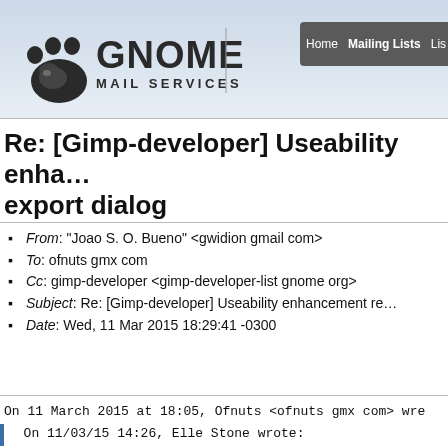[Figure (logo): GNOME Mail Services logo with paw print icon and text]
Home  Mailing Lists  Lis
Re: [Gimp-developer] Useability enhancement re… export dialog
From: "Joao S. O. Bueno" <gwidion gmail com>
To: ofnuts gmx com
Cc: gimp-developer <gimp-developer-list gnome org>
Subject: Re: [Gimp-developer] Useability enhancement re…
Date: Wed, 11 Mar 2015 18:29:41 -0300
On 11 March 2015 at 18:05, Ofnuts <ofnuts gmx com> wre
On 11/03/15 14:26, Elle Stone wrote: